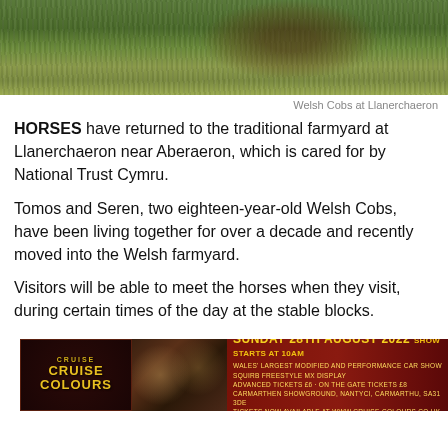[Figure (photo): Horses on green grass at Llanerchaeron farmyard, viewed from above]
Welsh Cobs at Llanerchaeron
HORSES have returned to the traditional farmyard at Llanerchaeron near Aberaeron, which is cared for by National Trust Cymru.
Tomos and Seren, two eighteen-year-old Welsh Cobs, have been living together for over a decade and recently moved into the Welsh farmyard.
Visitors will be able to meet the horses when they visit, during certain times of the day at the stable blocks.
[Figure (infographic): Advertisement banner for Cruise Colours car show event on Sunday 28th August 2022 at Carmarthen Showground]